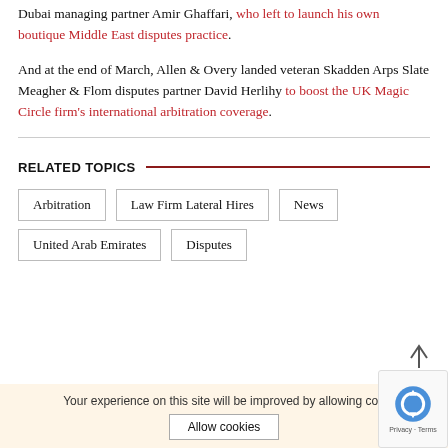Dubai managing partner Amir Ghaffari, who left to launch his own boutique Middle East disputes practice.
And at the end of March, Allen & Overy landed veteran Skadden Arps Slate Meagher & Flom disputes partner David Herlihy to boost the UK Magic Circle firm's international arbitration coverage.
RELATED TOPICS
Arbitration
Law Firm Lateral Hires
News
United Arab Emirates
Disputes
Your experience on this site will be improved by allowing cookies